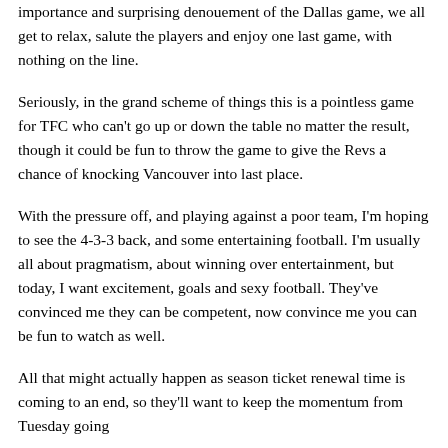importance and surprising denouement of the Dallas game, we all get to relax, salute the players and enjoy one last game, with nothing on the line.
Seriously, in the grand scheme of things this is a pointless game for TFC who can't go up or down the table no matter the result, though it could be fun to throw the game to give the Revs a chance of knocking Vancouver into last place.
With the pressure off, and playing against a poor team, I'm hoping to see the 4-3-3 back, and some entertaining football. I'm usually all about pragmatism, about winning over entertainment, but today, I want excitement, goals and sexy football. They've convinced me they can be competent, now convince me you can be fun to watch as well.
All that might actually happen as season ticket renewal time is coming to an end, so they'll want to keep the momentum from Tuesday going